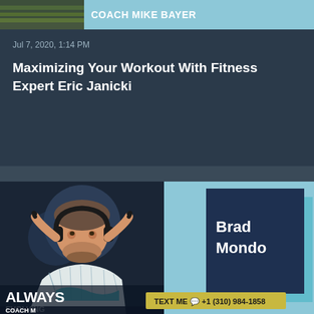[Figure (screenshot): Top banner with 'COACH MIKE BAYER' text on dark background with teal accent]
Jul 7, 2020, 1:14 PM
Maximizing Your Workout With Fitness Expert Eric Janicki
[Figure (screenshot): Always Evolving with Coach Mike Bayer podcast cover art showing host with headphones, and Brad Mondo guest card on right side with teal background. Text Me bar at bottom: +1 (310) 984-1858]